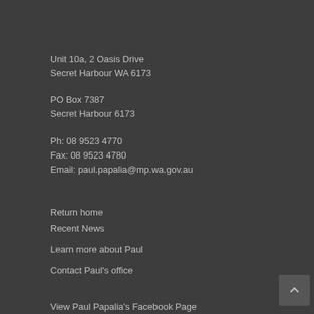Unit 10a, 2 Oasis Drive
Secret Harbour WA 6173

PO Box 7387
Secret Harbour 6173

Ph: 08 9523 4770
Fax: 08 9523 4780
Email: paul.papalia@mp.wa.gov.au
Return home
Recent News
Learn more about Paul
Contact Paul's office
View Paul Papalia's Facebook Page